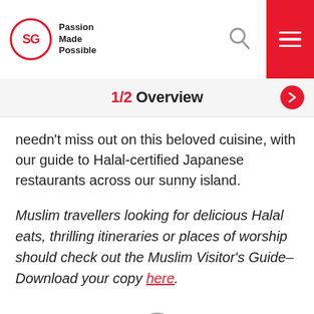SG Passion Made Possible
1/2 Overview
needn't miss out on this beloved cuisine, with our guide to Halal-certified Japanese restaurants across our sunny island.
Muslim travellers looking for delicious Halal eats, thrilling itineraries or places of worship should check out the Muslim Visitor's Guide–Download your copy here.
[Figure (other): Loading spinner icon (partial circle arc in gray)]